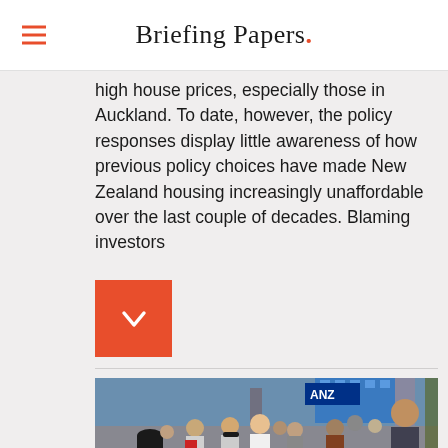Briefing Papers.
high house prices, especially those in Auckland. To date, however, the policy responses display little awareness of how previous policy choices have made New Zealand housing increasingly unaffordable over the last couple of decades. Blaming investors
[Figure (other): Orange square button with a white downward chevron/arrow icon, used as a scroll-down or expand button]
[Figure (photo): Street-level photo of a busy urban sidewalk with a crowd of pedestrians, an ANZ bank sign visible in the background, appears to be Auckland city centre]